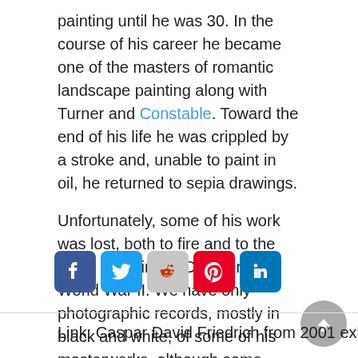painting until he was 30. In the course of his career he became one of the masters of romantic landscape painting along with Turner and Constable. Toward the end of his life he was crippled by a stroke and, unable to paint in oil, he returned to sepia drawings.
Unfortunately, some of his work was lost, both to fire and to the Allied bombing of Dresden in World War II. We have only photographic records, mostly in black and white, of some of his masterworks, although some have been colorized by modern artists in an attempt to reconstruct their original appearance.
[Figure (other): Social media sharing icons: Facebook, Twitter, Reddit, Pinterest, LinkedIn]
Link: Caspar David Friedrich from 2001 exhibition at